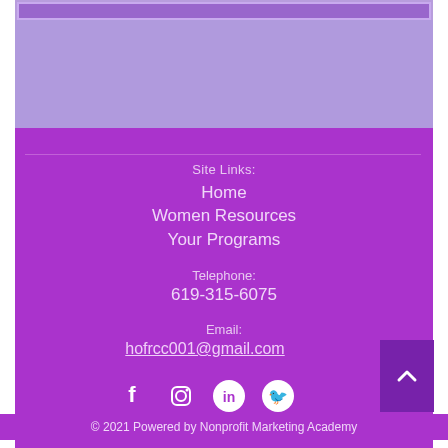[Figure (screenshot): Purple top banner area with lighter purple rectangle]
Site Links:
Home
Women Resources
Your Programs
Telephone:
619-315-6075
Email:
hofrcc001@gmail.com
[Figure (infographic): Social media icons: Facebook, Instagram, LinkedIn, Twitter]
© 2021 Powered by Nonprofit Marketing Academy